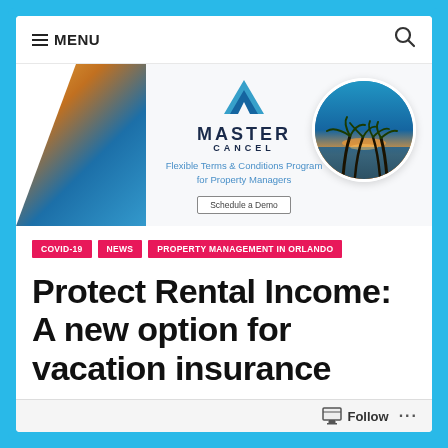≡ MENU
[Figure (advertisement): Master Cancel advertisement banner with logo, tagline 'Flexible Terms & Conditions Program for Property Managers', Schedule a Demo button, pool photo on left and circular tropical sunset photo on right]
COVID-19
NEWS
PROPERTY MANAGEMENT IN ORLANDO
Protect Rental Income: A new option for vacation insurance